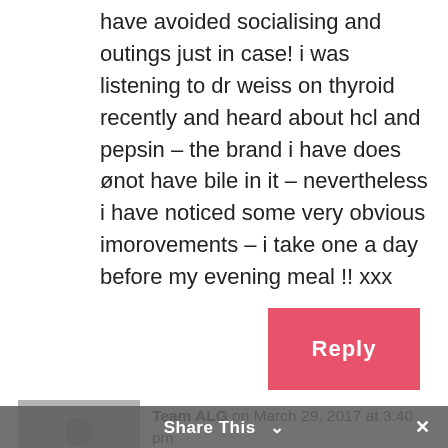have avoided socialising and outings just in case! i was listening to dr weiss on thyroid recently and heard about hcl and pepsin – the brand i have does ønot have bile in it – nevertheless i have noticed some very obvious imorovements – i take one a day before my evening meal !! xxx
[Figure (other): Pink/red Reply button]
[Figure (other): Grey avatar/profile icon placeholder]
Team ALG on March 29, 2017 at 3:40 pm
Share This ∨  ×